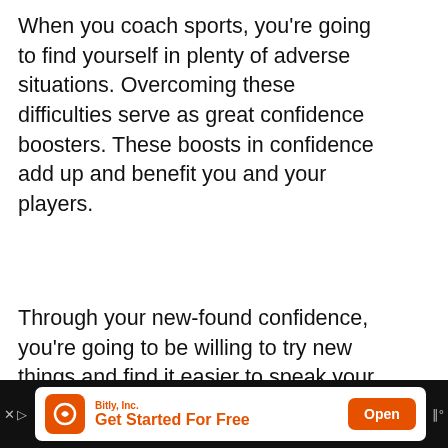When you coach sports, you're going to find yourself in plenty of adverse situations. Overcoming these difficulties serve as great confidence boosters. These boosts in confidence add up and benefit you and your players.
Through your new-found confidence, you're going to be willing to try new things and find it easier to speak your mind.
Coaching Is a Workout
[Figure (photo): Dark photo of an athlete working out, partial view at bottom of page]
[Figure (screenshot): Advertisement banner: Bitly Inc. Get Started For Free, with Open button]